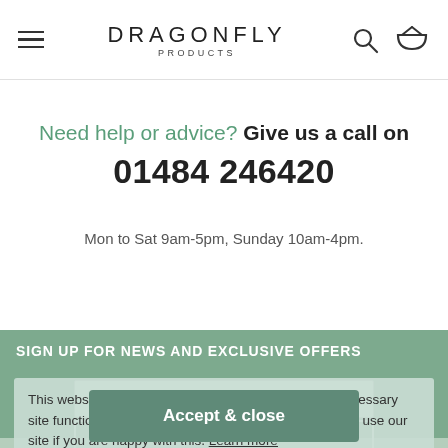DRAGONFLY PRODUCTS
Need help or advice? Give us a call on 01484 246420
Mon to Sat 9am-5pm, Sunday 10am-4pm.
SIGN UP FOR NEWS AND EXCLUSIVE OFFERS
This website stores data such as cookies to enable necessary site functionality, including analytics. Please continue to use our site if you are happy with this. Learn more
Accept & close